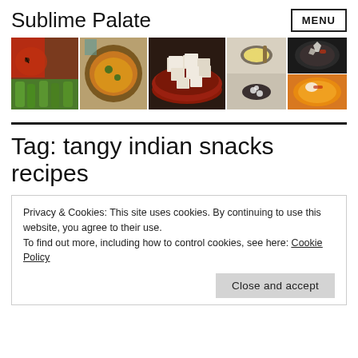Sublime Palate | MENU
[Figure (photo): A horizontal strip of six Indian food photos: red chili powder and green beans, a curry/dal dish, tofu/paneer cubes in red bowl, a small bowl with food, a dark plated dish with accompaniments, and an orange curry dish.]
Tag: tangy indian snacks recipes
Privacy & Cookies: This site uses cookies. By continuing to use this website, you agree to their use.
To find out more, including how to control cookies, see here: Cookie Policy
Close and accept